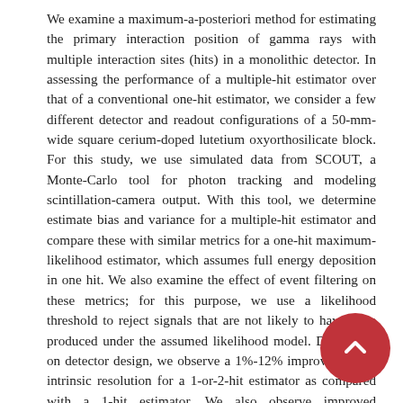We examine a maximum-a-posteriori method for estimating the primary interaction position of gamma rays with multiple interaction sites (hits) in a monolithic detector. In assessing the performance of a multiple-hit estimator over that of a conventional one-hit estimator, we consider a few different detector and readout configurations of a 50-mm-wide square cerium-doped lutetium oxyorthosilicate block. For this study, we use simulated data from SCOUT, a Monte-Carlo tool for photon tracking and modeling scintillation-camera output. With this tool, we determine estimate bias and variance for a multiple-hit estimator and compare these with similar metrics for a one-hit maximum-likelihood estimator, which assumes full energy deposition in one hit. We also examine the effect of event filtering on these metrics; for this purpose, we use a likelihood threshold to reject signals that are not likely to have been produced under the assumed likelihood model. Depending on detector design, we observe a 1%-12% improvement of intrinsic resolution for a 1-or-2-hit estimator as compared with a 1-hit estimator. We also observe improved differentiation of photopeak events using a 1-or-2-hit estimator as compared with the 1-hit estimator; more than 6% of photopeak events that were rejected by likelihood filtering for the 1-hit estimator were
[Figure (other): Red circular button with upward chevron arrow icon in the bottom-right area of the page]